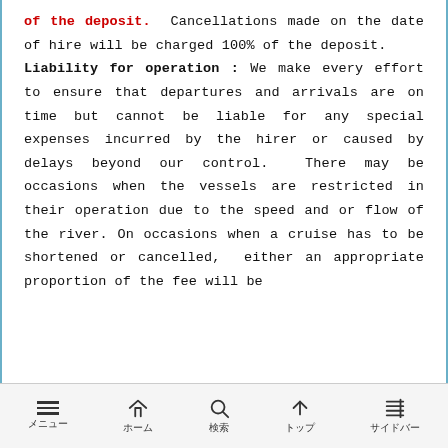of the deposit. Cancellations made on the date of hire will be charged 100% of the deposit. Liability for operation : We make every effort to ensure that departures and arrivals are on time but cannot be liable for any special expenses incurred by the hirer or caused by delays beyond our control. There may be occasions when the vessels are restricted in their operation due to the speed and or flow of the river. On occasions when a cruise has to be shortened or cancelled, either an appropriate proportion of the fee will be
メニュー ホーム 検索 トップ サイドバー